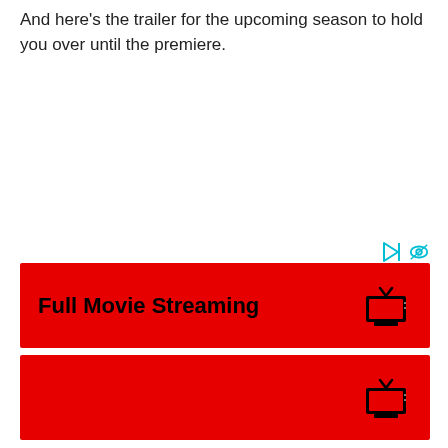And here's the trailer for the upcoming season to hold you over until the premiere.
[Figure (other): Ad choice icons (play and eye symbol in teal/cyan)]
[Figure (other): Red advertisement banner with text 'Full Movie Streaming' and TV icon on the right]
[Figure (other): Second red advertisement banner (partially visible) with TV icon]